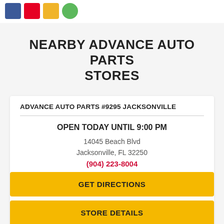[Figure (other): Social media icon buttons: Facebook (blue), Pinterest (pink/red), Email (yellow), and a green circular icon]
NEARBY ADVANCE AUTO PARTS STORES
ADVANCE AUTO PARTS #9295 JACKSONVILLE
OPEN TODAY UNTIL 9:00 PM
14045 Beach Blvd
Jacksonville, FL 32250
(904) 223-8004
GET DIRECTIONS
STORE DETAILS